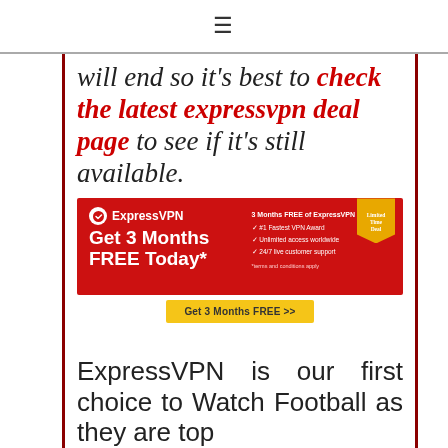≡
will end so it's best to check the latest expressvpn deal page to see if it's still available.
[Figure (infographic): ExpressVPN advertisement banner: red background with ExpressVPN logo, text 'Get 3 Months FREE Today*', bullet points listing benefits (3 Months FREE of ExpressVPN, #1 Fastest VPN Award, Unlimited access worldwide, 24/7 live customer support), a gold ribbon badge in top right corner, and a yellow 'Get 3 Months FREE >>' button below.]
ExpressVPN is our first choice to Watch Football as they are top